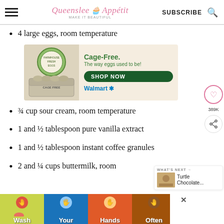Queenslee Appétit — SUBSCRIBE
4 large eggs, room temperature
[Figure (photo): Advertisement for Farmhouse Eggs cage-free eggs at Walmart with a SHOP NOW button]
¾ cup sour cream, room temperature
1 and ½ tablespoon pure vanilla extract
1 and ½ tablespoon instant coffee granules
2 and ¼ cups buttermilk, room
[Figure (photo): Bottom banner advertisement: Wash Your Hands Often]